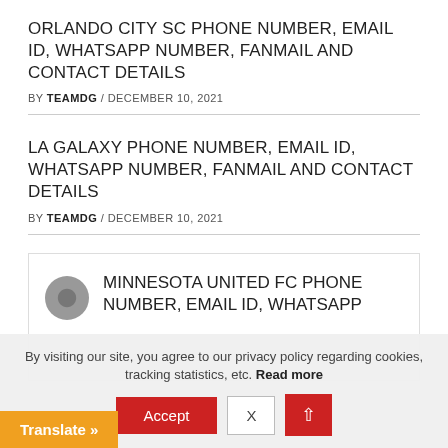ORLANDO CITY SC PHONE NUMBER, EMAIL ID, WHATSAPP NUMBER, FANMAIL AND CONTACT DETAILS
BY TEAMDG / DECEMBER 10, 2021
LA GALAXY PHONE NUMBER, EMAIL ID, WHATSAPP NUMBER, FANMAIL AND CONTACT DETAILS
BY TEAMDG / DECEMBER 10, 2021
MINNESOTA UNITED FC PHONE NUMBER, EMAIL ID, WHATSAPP
By visiting our site, you agree to our privacy policy regarding cookies, tracking statistics, etc. Read more
Accept   X
Translate »